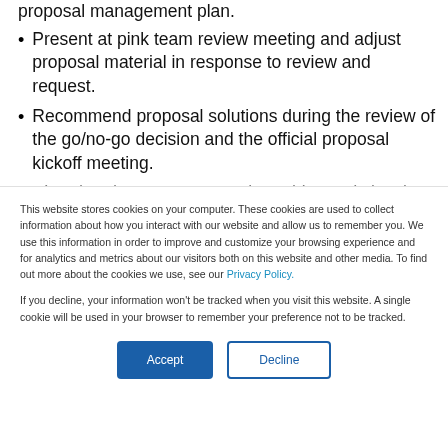proposal management plan.
Present at pink team review meeting and adjust proposal material in response to review and request.
Recommend proposal solutions during the review of the go/no-go decision and the official proposal kickoff meeting.
Lead and present proposal graphics and visuals
This website stores cookies on your computer. These cookies are used to collect information about how you interact with our website and allow us to remember you. We use this information in order to improve and customize your browsing experience and for analytics and metrics about our visitors both on this website and other media. To find out more about the cookies we use, see our Privacy Policy.
If you decline, your information won’t be tracked when you visit this website. A single cookie will be used in your browser to remember your preference not to be tracked.